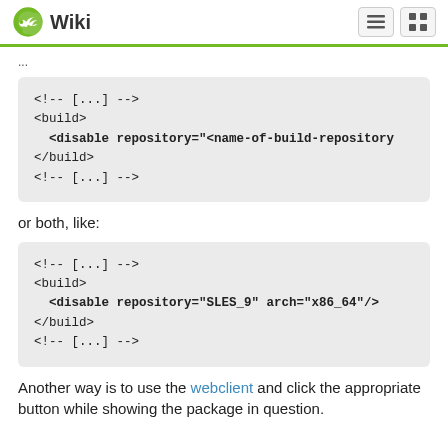Wiki
[Figure (other): Code block showing XML build configuration with <!-- [...] -->, <build>, <disable repository="<name-of-build-repository", </build>, <!-- [...] -->]
or both, like:
[Figure (other): Code block showing XML build configuration with <!-- [...] -->, <build>, <disable repository="SLES_9" arch="x86_64"/>, </build>, <!-- [...] -->]
Another way is to use the webclient and click the appropriate button while showing the package in question.